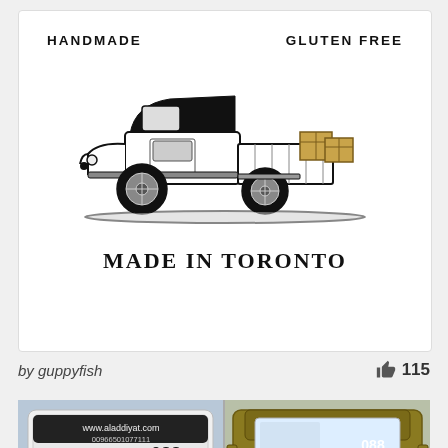[Figure (illustration): Vintage pickup truck illustration with 'HANDMADE' on the left and 'GLUTEN FREE' on the right, with wooden crates in the truck bed. Text below reads 'MADE IN TORONTO'.]
by guppyfish
115
[Figure (photo): Two photos of a van with Aladdiyat branding. Left photo shows the rear of a white van with a horse logo, number 088, website www.aladdiyat.com, Arabic text العاديات السعودية, and ALADDIYAT in English. Right photo shows the front of a gold/yellow van with similar branding and number 088.]